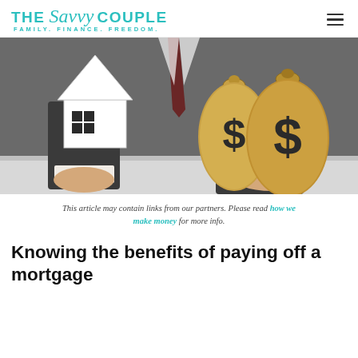THE Savvy COUPLE — FAMILY. FINANCE. FREEDOM.
[Figure (photo): Person in dark suit holding a white paper cutout house in one hand and two burlap money bags with dollar signs in the other hand, over a white table surface.]
This article may contain links from our partners. Please read how we make money for more info.
Knowing the benefits of paying off a mortgage